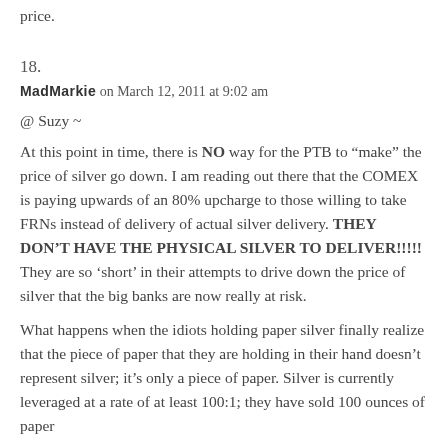price.
18.
MadMarkie on March 12, 2011 at 9:02 am
@ Suzy ~
At this point in time, there is NO way for the PTB to “make” the price of silver go down. I am reading out there that the COMEX is paying upwards of an 80% upcharge to those willing to take FRNs instead of delivery of actual silver delivery. THEY DON’T HAVE THE PHYSICAL SILVER TO DELIVER!!!!! They are so ‘short’ in their attempts to drive down the price of silver that the big banks are now really at risk.
What happens when the idiots holding paper silver finally realize that the piece of paper that they are holding in their hand doesn’t represent silver; it’s only a piece of paper. Silver is currently leveraged at a rate of at least 100:1; they have sold 100 ounces of paper